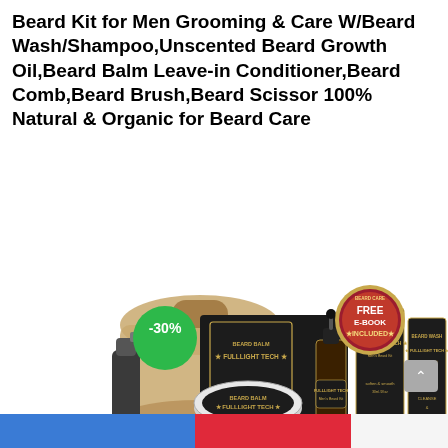Beard Kit for Men Grooming & Care W/Beard Wash/Shampoo,Unscented Beard Growth Oil,Beard Balm Leave-in Conditioner,Beard Comb,Beard Brush,Beard Scissor 100% Natural & Organic for Beard Care
[Figure (photo): Product photo of a beard grooming kit showing multiple items: a burlap bag, beard balm tin (FULLLIGHT TECH), beard oil dropper bottle, beard wash box, a green circle badge showing -30% discount, and a gold/red FREE E-BOOK INCLUDED badge.]
Navigation bar with blue and red sections at the bottom